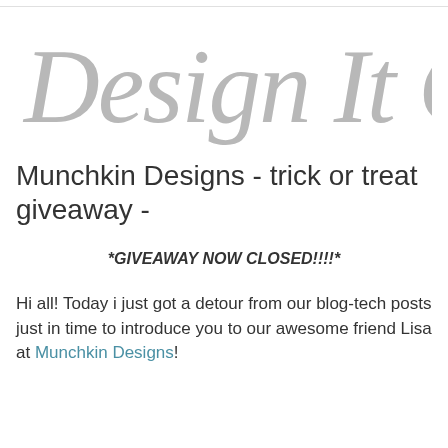[Figure (logo): Design It Chic cursive logo in light gray script font]
Munchkin Designs - trick or treat giveaway -
*GIVEAWAY NOW CLOSED!!!!*
Hi all! Today i just got a detour from our blog-tech posts just in time to introduce you to our awesome friend Lisa at Munchkin Designs!